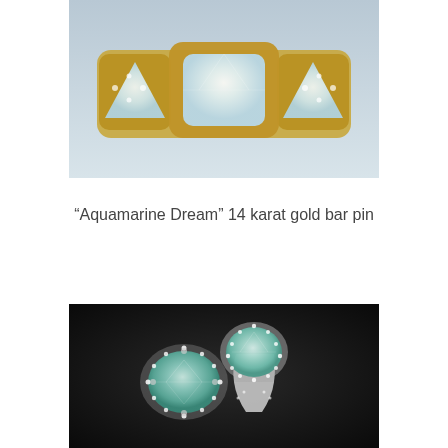[Figure (photo): A gold bar pin featuring three large aquamarine cushion-cut and trillion-cut gemstones set in 14 karat yellow gold with diamond accents, photographed against a grey gradient background.]
“Aquamarine Dream” 14 karat gold bar pin
[Figure (photo): Two aquamarine and diamond rings shown from different angles against a dark background. The rings feature large oval aquamarine center stones surrounded by a halo of diamonds on a white gold band.]